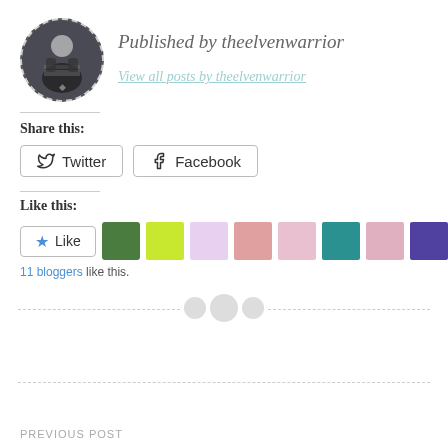[Figure (photo): Circular avatar photo of a person wrapped in a scarf/blanket, wearing dark clothing with a graphic. Dashed circle border.]
Published by theelvenwarrior
View all posts by theelvenwarrior
Share this:
Twitter
Facebook
Like this:
Like
11 bloggers like this.
PREVIOUS POST